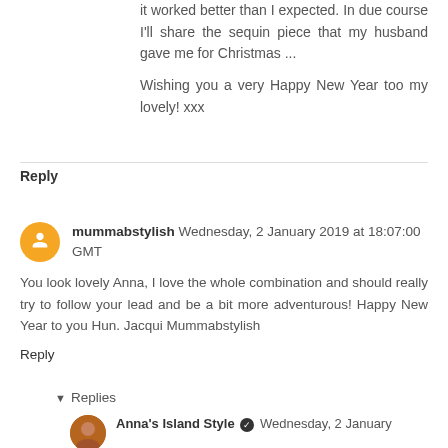it worked better than I expected. In due course I'll share the sequin piece that my husband gave me for Christmas ...
Wishing you a very Happy New Year too my lovely! xxx
Reply
mummabstylish Wednesday, 2 January 2019 at 18:07:00 GMT
You look lovely Anna, I love the whole combination and should really try to follow your lead and be a bit more adventurous! Happy New Year to you Hun. Jacqui Mummabstylish
Reply
Replies
Anna's Island Style Wednesday, 2 January